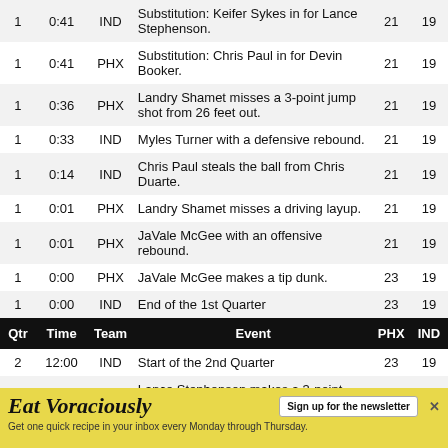| Qtr | Time | Team | Event | PHX | IND |
| --- | --- | --- | --- | --- | --- |
| 1 | 0:41 | IND | Substitution: Keifer Sykes in for Lance Stephenson. | 21 | 19 |
| 1 | 0:41 | PHX | Substitution: Chris Paul in for Devin Booker. | 21 | 19 |
| 1 | 0:36 | PHX | Landry Shamet misses a 3-point jump shot from 26 feet out. | 21 | 19 |
| 1 | 0:33 | IND | Myles Turner with a defensive rebound. | 21 | 19 |
| 1 | 0:14 | IND | Chris Paul steals the ball from Chris Duarte. | 21 | 19 |
| 1 | 0:01 | PHX | Landry Shamet misses a driving layup. | 21 | 19 |
| 1 | 0:01 | PHX | JaVale McGee with an offensive rebound. | 21 | 19 |
| 1 | 0:00 | PHX | JaVale McGee makes a tip dunk. | 23 | 19 |
| 1 | 0:00 | IND | End of the 1st Quarter | 23 | 19 |
| HEADER |  |  |  | PHX | IND |
| 2 | 12:00 | IND | Start of the 2nd Quarter | 23 | 19 |
| 2 | 11:36 | IND | Lance Stephenson makes a 3-point jump shot from 25 feet out. | 23 | 22 |
[Figure (infographic): Advertisement banner for 'Eat Voraciously' newsletter with yellow background, sign up button, and close X button.]